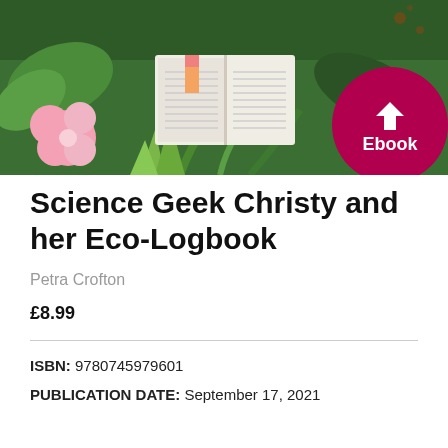[Figure (illustration): Colorful illustrated banner showing an open book surrounded by tropical plants and flowers, with a dark red circular Ebook badge with a download arrow in the bottom-right corner.]
Science Geek Christy and her Eco-Logbook
Petra Crofton
£8.99
ISBN: 9780745979601
PUBLICATION DATE: September 17, 2021